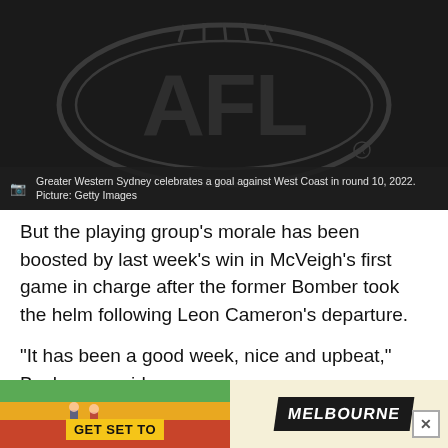[Figure (photo): AFL logo on dark background]
Greater Western Sydney celebrates a goal against West Coast in round 10, 2022. Picture: Getty Images
But the playing group's morale has been boosted by last week's win in McVeigh's first game in charge after the former Bomber took the helm following Leon Cameron's departure.
"It has been a good week, nice and upbeat," Buchanan said.
"Obviously it's a big challenge going up to the Gabba to take on the Lions, they're top two for a reason.
[Figure (photo): Advertisement banner: GET SET TO MELBOURNE]